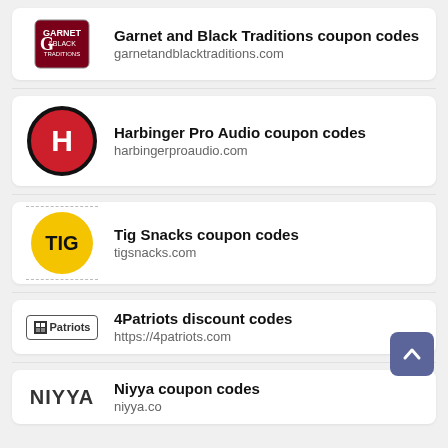Garnet and Black Traditions coupon codes
garnetandblacktraditions.com
Harbinger Pro Audio coupon codes
harbingerproaudio.com
Tig Snacks coupon codes
tigsnacks.com
4Patriots discount codes
https://4patriots.com
Niyya coupon codes
niyya.co
[Figure (illustration): Scroll to top button, blue-purple square with upward chevron arrow]